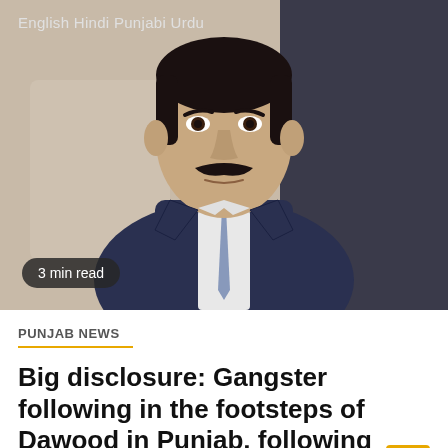English Hindi Punjabi Urdu
[Figure (photo): Portrait photo of a man in a dark suit and tie, dark hair and mustache, seated indoors against a light background]
3 min read
PUNJAB NEWS
Big disclosure: Gangster following in the footsteps of Dawood in Punjab, following these tricks before murder